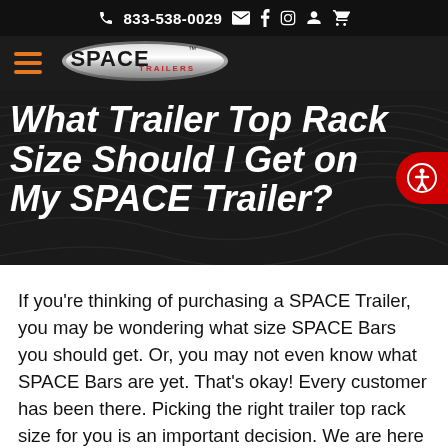833-538-0029
[Figure (logo): SPACE Trailers logo with chrome pill-shaped badge and red TRAILERS text]
What Trailer Top Rack Size Should I Get on My SPACE Trailer?
If you’re thinking of purchasing a SPACE Trailer, you may be wondering what size SPACE Bars you should get. Or, you may not even know what SPACE Bars are yet. That’s okay! Every customer has been there. Picking the right trailer top rack size for you is an important decision. We are here to talk